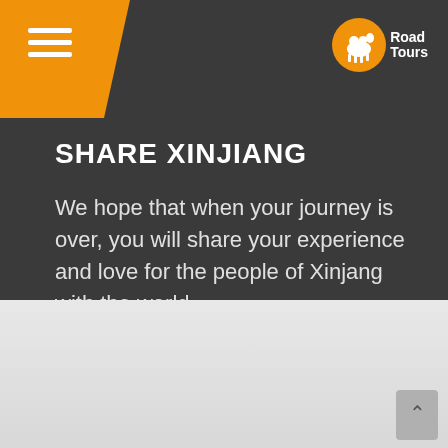[Figure (logo): Old Road Tours logo with camel icon in orange circle and white text 'Old Road Tours']
SHARE XINJIANG
We hope that when your journey is over, you will share your experience and love for the people of Xinjang with the world.
“Travel in what has been known as Xinjiang has never been a simple thing. The Silk Road skirts the Taklamakan Desert on the south